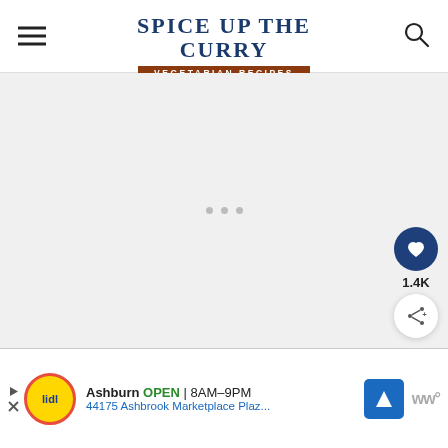Spice Up The Curry — Vegetarian Recipes
[Figure (other): Loading placeholder area with three small grey dots centered on a light grey background]
[Figure (other): Floating action button: dark blue circle with heart icon, count 1.4K, and white circle share button]
[Figure (other): Advertisement banner: Lidl store ad showing Ashburn OPEN 8AM-9PM, 44175 Ashbrook Marketplace Plaz..., with navigation arrow icon and WW logo]